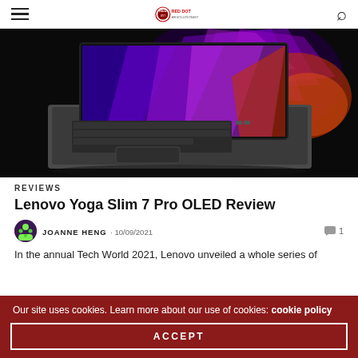Red Dot Revolutionist — navigation header with hamburger menu and search icon
[Figure (photo): Lenovo Yoga Slim 7 Pro laptop shown at an angle on a black background, with a colorful purple and red abstract wallpaper on screen and a grey aluminum body with keyboard visible]
REVIEWS
Lenovo Yoga Slim 7 Pro OLED Review
JOANNE HENG · 10/09/2021 · 1 comment
In the annual Tech World 2021, Lenovo unveiled a whole series of
Our site uses cookies. Learn more about our use of cookies: cookie policy
ACCEPT